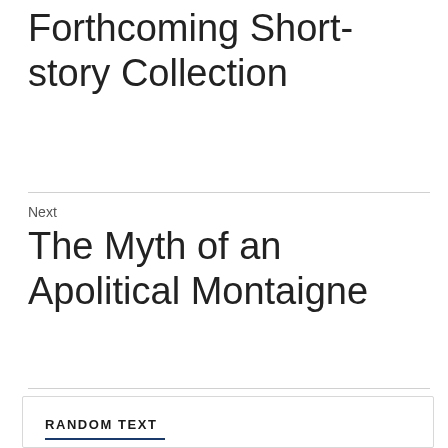Forthcoming Short-story Collection
Next
The Myth of an Apolitical Montaigne
RANDOM TEXT
https://lyrics.az/shane-eagle/-/cutting-corners.html